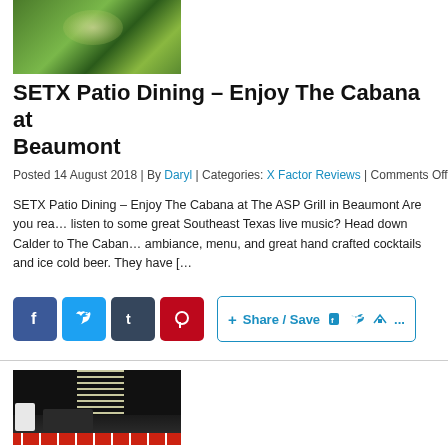[Figure (photo): Food photo showing an avocado or stuffed pepper with green garnish on a dark plate]
SETX Patio Dining – Enjoy The Cabana at Beaumont
Posted 14 August 2018 | By Daryl | Categories: X Factor Reviews | Comments Off
SETX Patio Dining – Enjoy The Cabana at The ASP Grill in Beaumont Are you rea… listen to some great Southeast Texas live music? Head down Calder to The Caban… ambiance, menu, and great hand crafted cocktails and ice cold beer. They have […
[Figure (other): Social media share buttons: Facebook, Twitter, Tumblr, Pinterest, and a Share/Save button]
[Figure (photo): Interior photo of The Cabana patio area with string lights curtain and dark furniture with chevron rug]